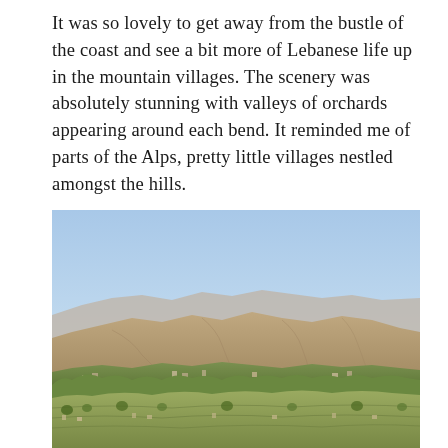It was so lovely to get away from the bustle of the coast and see a bit more of Lebanese life up in the mountain villages. The scenery was absolutely stunning with valleys of orchards appearing around each bend. It reminded me of parts of the Alps, pretty little villages nestled amongst the hills.
[Figure (photo): A landscape photograph of Lebanese mountain villages with terraced green hillsides in the foreground, bare rocky mountain slopes in the background, and a pale blue sky above.]